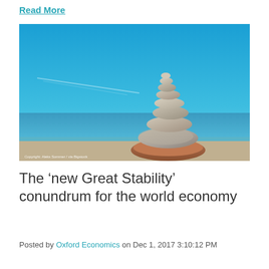Read More
[Figure (photo): A stack of balanced stones/pebbles against a bright blue sky and ocean background. Caption reads: Copyright: Aleks Sommer / via Bigstock]
The ‘new Great Stability’ conundrum for the world economy
Posted by Oxford Economics on Dec 1, 2017 3:10:12 PM